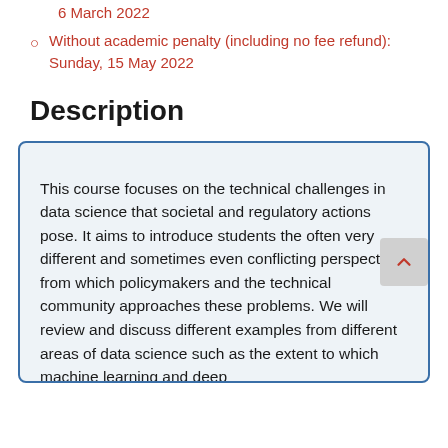6 March 2022
Without academic penalty (including no fee refund): Sunday, 15 May 2022
Description
This course focuses on the technical challenges in data science that societal and regulatory actions pose. It aims to introduce students the often very different and sometimes even conflicting perspectives from which policymakers and the technical community approaches these problems. We will review and discuss different examples from different areas of data science such as the extent to which machine learning and deep